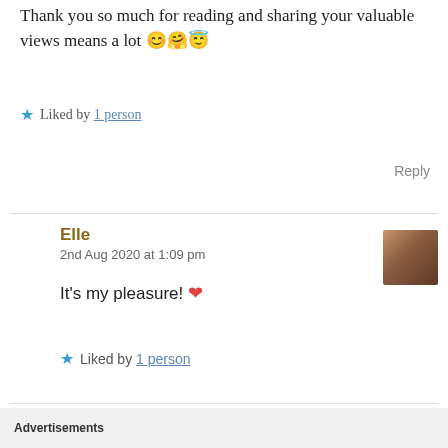Thank you so much for reading and sharing your valuable views means a lot 😊🤗😇
★ Liked by 1 person
Reply
Elle
2nd Aug 2020 at 1:09 pm
It's my pleasure! ❤
★ Liked by 1 person
Advertisements
[Figure (screenshot): WordPress VIP advertisement banner with Learn more button]